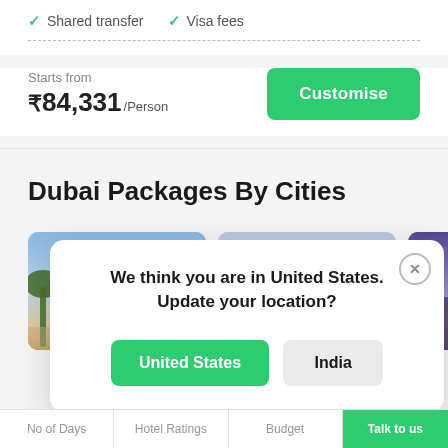✓ Shared transfer  ✓ Visa fees
Starts from
₹ 84,331 /Person
Customise
Dubai Packages By Cities
[Figure (photo): Three city travel destination photos showing sky and landmark scenes for Dubai packages]
We think you are in United States.
Update your location?
United States
India
No of Days  |  Hotel Ratings  |  Budget  |  Talk to us